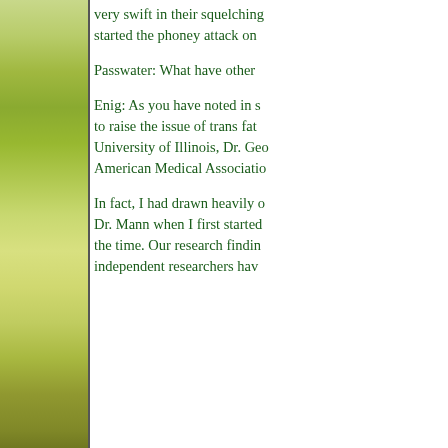[Figure (illustration): Left-side decorative illustration featuring green/yellow plant or food imagery with a vertical dark border line on the right edge.]
very swift in their squelching started the phoney attack on
Passwater: What have other
Enig: As you have noted in s to raise the issue of trans fat University of Illinois, Dr. Geo American Medical Associatio
In fact, I had drawn heavily o Dr. Mann when I first started the time. Our research findin independent researchers hav